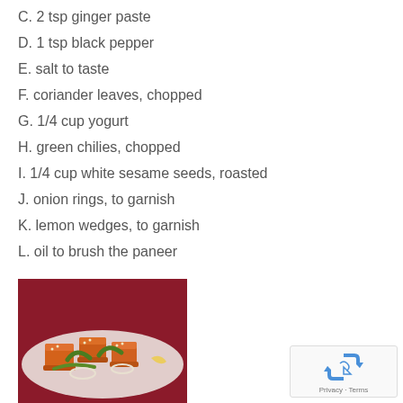C. 2 tsp ginger paste
D. 1 tsp black pepper
E. salt to taste
F. coriander leaves, chopped
G. 1/4 cup yogurt
H. green chilies, chopped
I. 1/4 cup white sesame seeds, roasted
J. onion rings, to garnish
K. lemon wedges, to garnish
L. oil to brush the paneer
[Figure (photo): Photo of paneer tikka dish with orange-colored paneer cubes, green chilies, onion rings, and garnish on a plate with dark red background]
[Figure (other): reCAPTCHA widget showing recycling arrow logo with Privacy and Terms text]